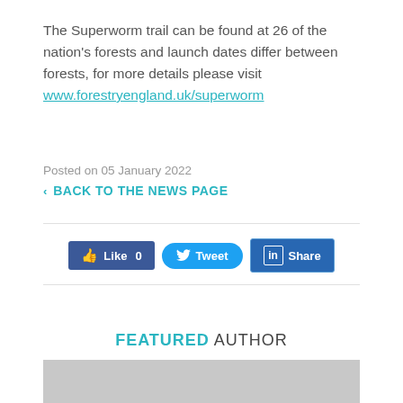The Superworm trail can be found at 26 of the nation's forests and launch dates differ between forests, for more details please visit www.forestryengland.uk/superworm
Posted on 05 January 2022
< BACK TO THE NEWS PAGE
[Figure (infographic): Social media sharing buttons: Facebook Like (0), Twitter Tweet, LinkedIn Share]
FEATURED AUTHOR
[Figure (photo): Gray placeholder image for featured author]